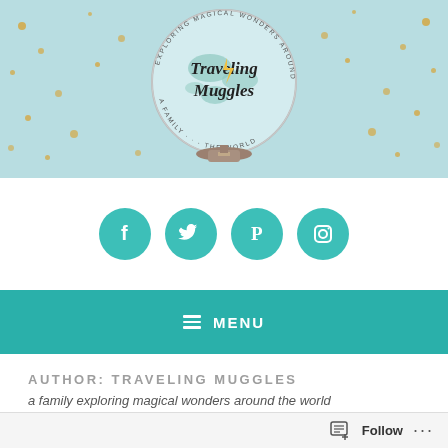[Figure (logo): Traveling Muggles blog header banner with a snow globe illustration containing a world map, script text reading 'Traveling Muggles', circular text reading 'A family exploring magical wonders around the world', gold confetti dots on light blue background]
[Figure (infographic): Four teal circular social media icons for Facebook, Twitter, Pinterest, and Instagram on white background]
≡ MENU
AUTHOR: TRAVELING MUGGLES
a family exploring magical wonders around the world
Follow ...